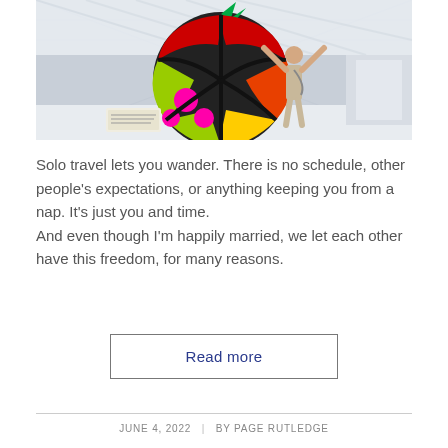[Figure (photo): A woman standing in front of a large colorful pop-art apple sculpture in an airport terminal, arms raised. The sculpture features bright colors including red, yellow, green, and pink polka dots with black outlines.]
Solo travel lets you wander. There is no schedule, other people's expectations, or anything keeping you from a nap. It's just you and time. And even though I'm happily married, we let each other have this freedom, for many reasons.
Read more
JUNE 4, 2022 | BY PAGE RUTLEDGE